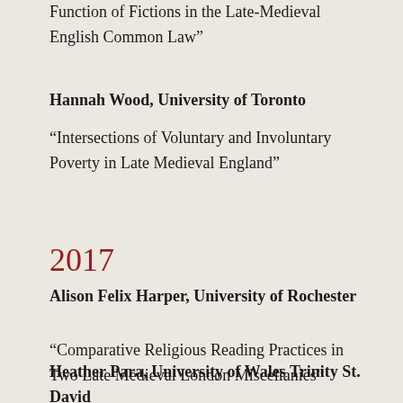Function of Fictions in the Late-Medieval English Common Law”
Hannah Wood, University of Toronto
“Intersections of Voluntary and Involuntary Poverty in Late Medieval England”
2017
Alison Felix Harper, University of Rochester
“Comparative Religious Reading Practices in Two Late Medieval London Miscellanies”
Heather Para, University of Wales Trinity St. David